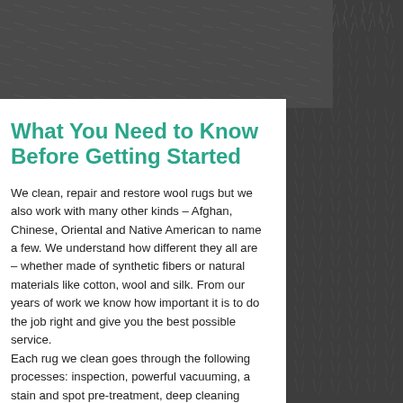[Figure (photo): Dark grey carpet/rug texture filling the top and right side of the page, with a white content card overlaid on the lower-left area.]
What You Need to Know Before Getting Started
We clean, repair and restore wool rugs but we also work with many other kinds – Afghan, Chinese, Oriental and Native American to name a few. We understand how different they all are – whether made of synthetic fibers or natural materials like cotton, wool and silk. From our years of work we know how important it is to do the job right and give you the best possible service.
Each rug we clean goes through the following processes: inspection, powerful vacuuming, a stain and spot pre-treatment, deep cleaning (either dry cleaning or deep immersion) and then a final touch up. We use only eco-